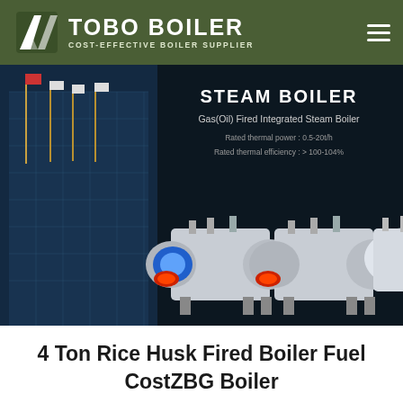TOBO BOILER — COST-EFFECTIVE BOILER SUPPLIER
[Figure (screenshot): Steam Boiler product banner showing Gas(Oil) Fired Integrated Steam Boiler with three white industrial boiler units displayed side by side. Text: STEAM BOILER, Gas(Oil) Fired Integrated Steam Boiler, Rated thermal power: 0.5-20t/h, Rated thermal efficiency: > 100-104%. Background shows industrial building with flags on the left side.]
4 Ton Rice Husk Fired Boiler Fuel CostZBG Boiler